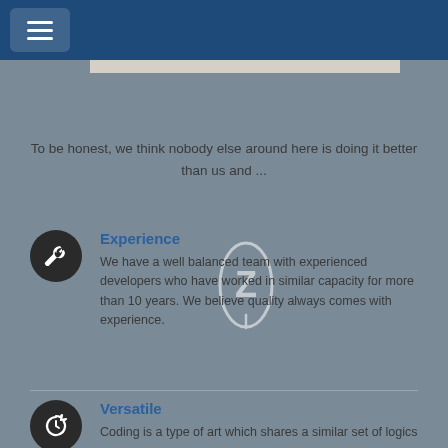WHY WE ARE HERE
To be honest, we think nobody else around here is doing it better than us and ...
Experience
We have a well balanced team with experienced developers who have worked in similar capacity for more than 10 years. We believe quality always comes with experience.
Versatile
Coding is a type of art which shares a similar set of logics